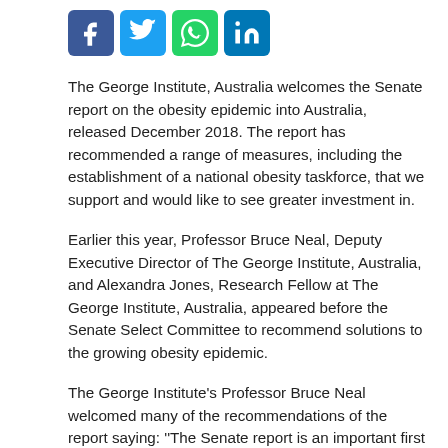[Figure (other): Social media share icons: Facebook (blue), Twitter (blue), WhatsApp (green), LinkedIn (blue)]
The George Institute, Australia welcomes the Senate report on the obesity epidemic into Australia, released December 2018. The report has recommended a range of measures, including the establishment of a national obesity taskforce, that we support and would like to see greater investment in.
Earlier this year, Professor Bruce Neal, Deputy Executive Director of The George Institute, Australia, and Alexandra Jones, Research Fellow at The George Institute, Australia, appeared before the Senate Select Committee to recommend solutions to the growing obesity epidemic.
The George Institute's Professor Bruce Neal welcomed many of the recommendations of the report saying: ''The Senate report is an important first step in ensuring Australia prioritizes whole of government approach to tackle the obesity epidemic.
“The recommendations from the Inquiry provide a roadmap to equip the health